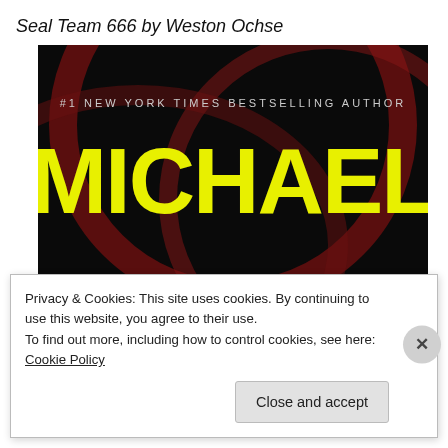Seal Team 666 by Weston Ochse
[Figure (photo): Book cover showing large yellow text 'MICHAEL CONNELLY' on black background with dark red circular design, with '#1 NEW YORK TIMES BESTSELLING AUTHOR' text at top in white]
Privacy & Cookies: This site uses cookies. By continuing to use this website, you agree to their use.
To find out more, including how to control cookies, see here: Cookie Policy
Close and accept